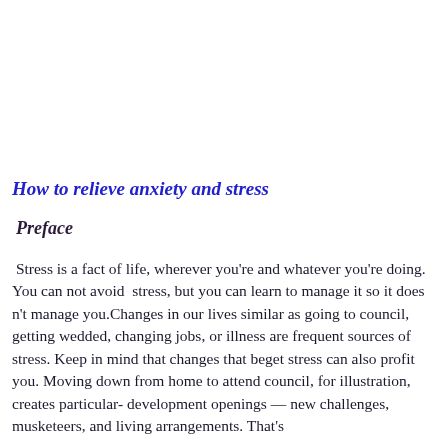How to relieve anxiety and stress
Preface
Stress is a fact of life, wherever you're and whatever you're doing. You can not avoid  stress, but you can learn to manage it so it does n't manage you.Changes in our lives similar as going to council, getting wedded, changing jobs, or illness are frequent sources of stress. Keep in mind that changes that beget stress can also profit you. Moving down from home to attend council, for illustration, creates particular- development openings — new challenges, musketeers, and living arrangements. That's